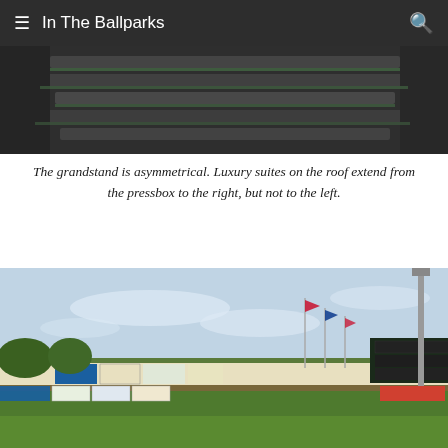In The Ballparks
[Figure (photo): Close-up of ballpark grandstand seating and roof structure, dark-toned]
The grandstand is asymmetrical. Luxury suites on the roof extend from the pressbox to the right, but not to the left.
[Figure (photo): Outfield view of a baseball park showing scoreboard, flagpoles with flags, green field, advertising signs along the outfield wall, and a bright blue sky]